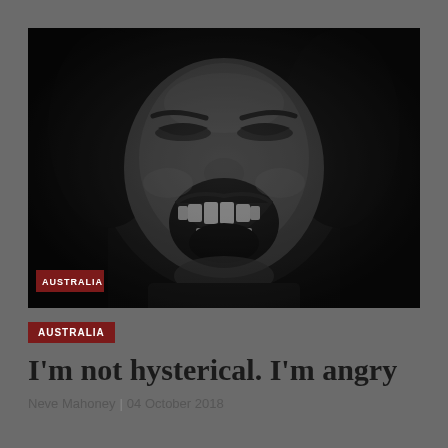[Figure (photo): Black and white close-up photograph of a person screaming with mouth wide open and eyes squinted, expressing intense anger or emotion. The image has high contrast with dark background.]
AUSTRALIA
I'm not hysterical. I'm angry
Neve Mahoney | 04 October 2018